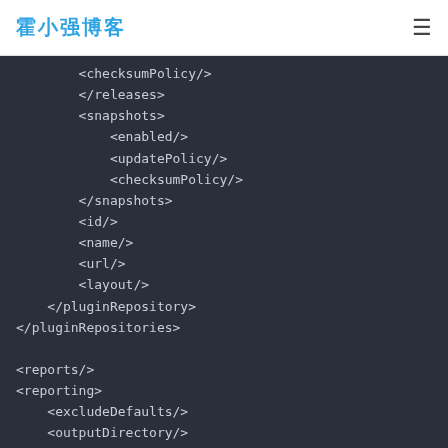霍小强博客
[Figure (screenshot): XML code snippet showing Maven POM structure with plugin repository and reporting tags on dark background]